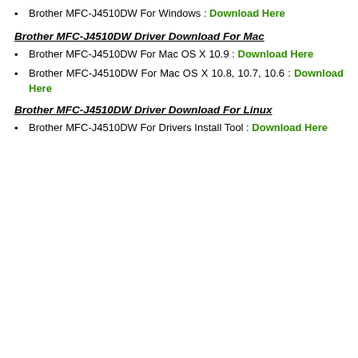Brother MFC-J4510DW For Windows : Download Here
Brother MFC-J4510DW Driver Download For Mac
Brother MFC-J4510DW For Mac OS X 10.9 : Download Here
Brother MFC-J4510DW For Mac OS X 10.8, 10.7, 10.6 : Download Here
Brother MFC-J4510DW Driver Download For Linux
Brother MFC-J4510DW For Drivers Install Tool : Download Here